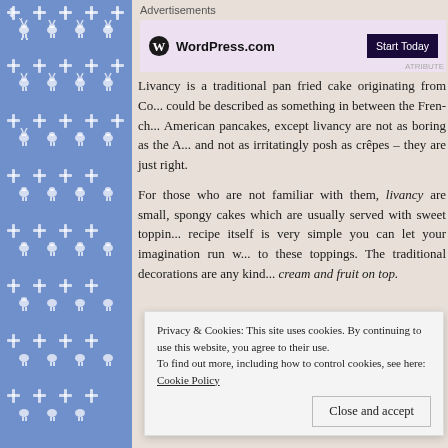[Figure (illustration): Blue decorative sidebar with repeating Nordic/Scandinavian folk pattern featuring deer/reindeer and snowflakes in white on blue background]
Advertisements
[Figure (logo): WordPress.com advertisement banner with WordPress logo and 'Start Today' button on pink/lavender background]
Livancy is a traditional pan fried cake originating from Co... could be described as something in between the French... American pancakes, except livancy are not as boring as the A... and not as irritatingly posh as crêpes – they are just right.
For those who are not familiar with them, livancy are small, spongy cakes which are usually served with sweet toppin... recipe itself is very simple you can let your imagination run w... to these toppings. The traditional decorations are any kind... cream and fruit on top.
Privacy & Cookies: This site uses cookies. By continuing to use this website, you agree to their use.
To find out more, including how to control cookies, see here: Cookie Policy